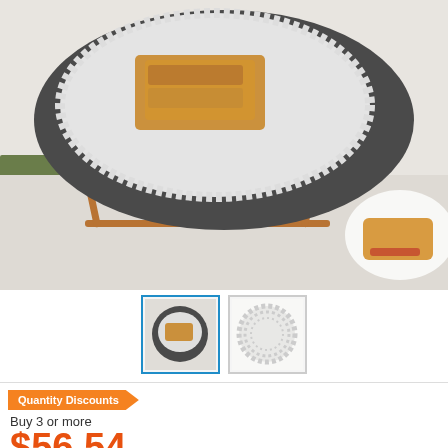[Figure (photo): Product photo showing a round slate serving board on copper-colored metal stand with pastries on a lace doily, on a table with a white plate and pastry visible to the right]
[Figure (photo): Thumbnail 1 (active/selected): close-up of slate board with pastry on doily]
[Figure (photo): Thumbnail 2: top-down view of a white lace round doily]
Quantity Discounts
Buy 3 or more
$56.54/Case
Ships free with plus
| Buy 1 - 2 | $58.99/Case |
| --- | --- |